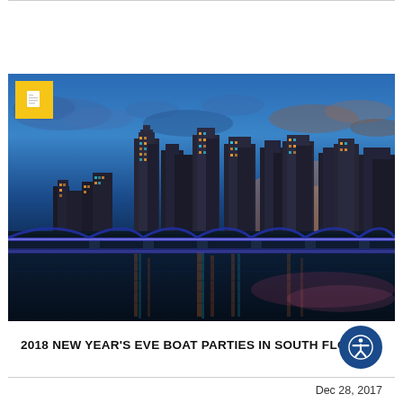[Figure (photo): Nighttime Miami skyline cityscape with illuminated skyscrapers reflected in water, with a lit bridge in the foreground and colorful city lights against a deep blue twilight sky. A yellow document icon badge is overlaid in the top-left corner.]
2018 NEW YEAR'S EVE BOAT PARTIES IN SOUTH FLORIDA
Dec 28, 2017